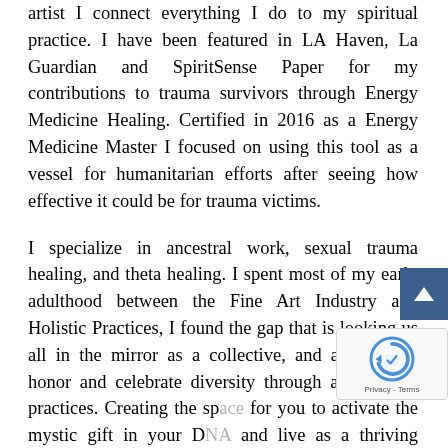artist I connect everything I do to my spiritual practice. I have been featured in LA Haven, La Guardian and SpiritSense Paper for my contributions to trauma survivors through Energy Medicine Healing. Certified in 2016 as a Energy Medicine Master I focused on using this tool as a vessel for humanitarian efforts after seeing how effective it could be for trauma victims.
I specialize in ancestral work, sexual trauma healing, and theta healing. I spent most of my early adulthood between the Fine Art Industry and Holistic Practices, I found the gap that is looking us all in the mirror as a collective, and am here to honor and celebrate diversity through all spiritual practices. Creating the sp... for you to activate the mystic gift in your D... and live as a thriving embodiment of it all. T... results in a peaceful, loving, and empowering
[Figure (other): Blue scroll-to-top button with white upward arrow chevron on right side of page]
[Figure (other): reCAPTCHA widget overlay showing robot icon and Privacy - Terms text]